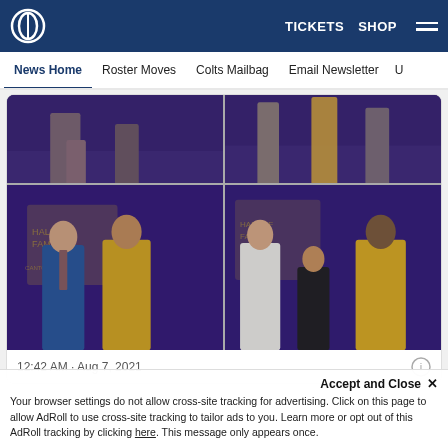TICKETS  SHOP
News Home  Roster Moves  Colts Mailbag  Email Newsletter  U
[Figure (photo): Four-photo grid showing Hall of Fame ceremony scenes. Top two photos show lower bodies of people on a stage with purple curtain backdrop. Bottom left: two men posing together in front of Hall of Fame logo backdrop, one in blue suit and one in gold Hall of Fame blazer. Bottom right: three people on stage including a man in white shirt, a woman in black dress, and a man in gold blazer, all in front of Hall of Fame logo.]
12:42 AM · Aug 7, 2021
Accept and Close ✕
Your browser settings do not allow cross-site tracking for advertising. Click on this page to allow AdRoll to use cross-site tracking to tailor ads to you. Learn more or opt out of this AdRoll tracking by clicking here. This message only appears once.